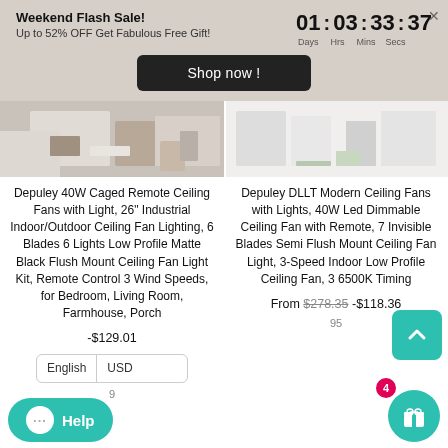Weekend Flash Sale! Up to 52% OFF Get Fabulous Free Gift! 01 : 03 : 33 : 37 Days Hrs Mins Secs
Shop now !
[Figure (photo): Interior room photos showing living room and shelving unit]
Depuley 40W Caged Remote Ceiling Fans with Light, 26" Industrial Indoor/Outdoor Ceiling Fan Lighting, 6 Blades 6 Lights Low Profile Matte Black Flush Mount Ceiling Fan Light Kit, Remote Control 3 Wind Speeds, for Bedroom, Living Room, Farmhouse, Porch
Depuley DLLT Modern Ceiling Fans with Lights, 40W Led Dimmable Ceiling Fan with Remote, 7 Invisible Blades Semi Flush Mount Ceiling Fan Light, 3-Speed Indoor Low Profile Ceiling Fan, 3 6500K Timing
From $278.35 -$118.36
-$129.01
English USD